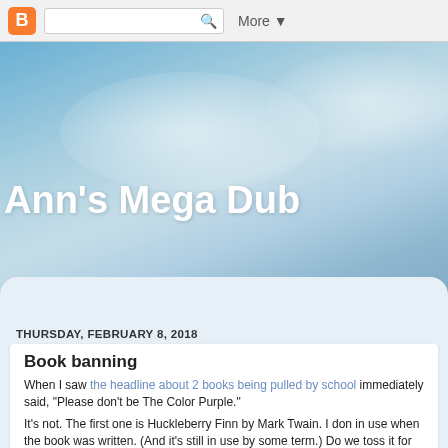B [search box] More ▼
Ann's Mega Dub
THURSDAY, FEBRUARY 8, 2018
Book banning
When I saw the headline about 2 books being pulled by school immediately said, “Please don’t be The Color Purple.”
It’s not.  The first one is Huckleberry Finn by Mark Twain.  I don in use when the book was written.  (And it’s still in use by some term.)  Do we toss it for that reason?
I think it’s a hurtful term.